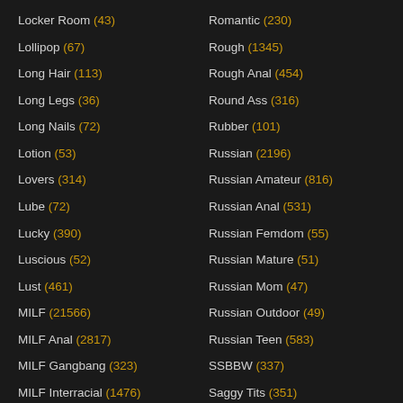Locker Room (43)
Lollipop (67)
Long Hair (113)
Long Legs (36)
Long Nails (72)
Lotion (53)
Lovers (314)
Lube (72)
Lucky (390)
Luscious (52)
Lust (461)
MILF (21566)
MILF Anal (2817)
MILF Gangbang (323)
MILF Interracial (1476)
Romantic (230)
Rough (1345)
Rough Anal (454)
Round Ass (316)
Rubber (101)
Russian (2196)
Russian Amateur (816)
Russian Anal (531)
Russian Femdom (55)
Russian Mature (51)
Russian Mom (47)
Russian Outdoor (49)
Russian Teen (583)
SSBBW (337)
Saggy Tits (351)